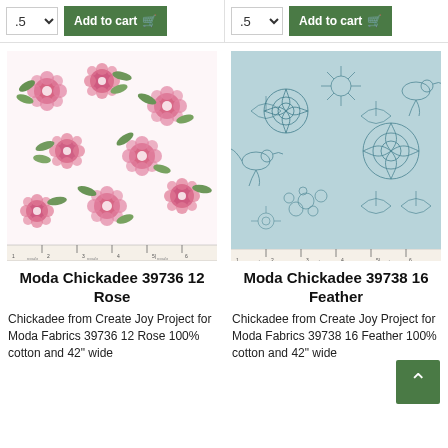.5  Add to cart (left)
.5  Add to cart (right)
[Figure (photo): Moda Chickadee 39736 12 Rose fabric — pink floral pattern on white background with green leaves, with ruler at bottom and 'moda' text]
[Figure (photo): Moda Chickadee 39738 16 Feather fabric — blue-grey sketch/line art pattern of flowers, birds, and botanicals, with ruler at bottom and 'moda' text]
Moda Chickadee 39736 12 Rose
Moda Chickadee 39738 16 Feather
Chickadee from Create Joy Project for Moda Fabrics 39736 12 Rose 100% cotton and 42" wide
Chickadee from Create Joy Project for Moda Fabrics 39738 16 Feather 100% cotton and 42" wide